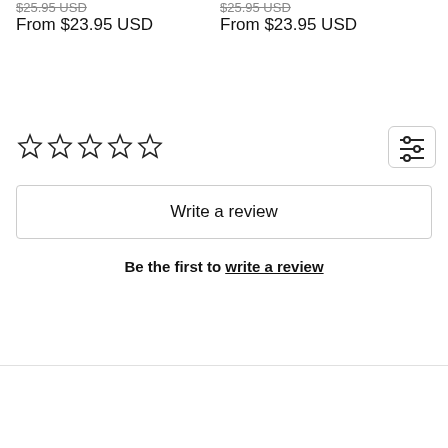$25.95 USD (strikethrough) From $23.95 USD (left column)
$25.95 USD (strikethrough) From $23.95 USD (right column)
[Figure (other): Five empty star rating icons]
[Figure (other): Filter/sort icon button with three horizontal sliders]
Write a review
Be the first to write a review
Quick links   Chat with us